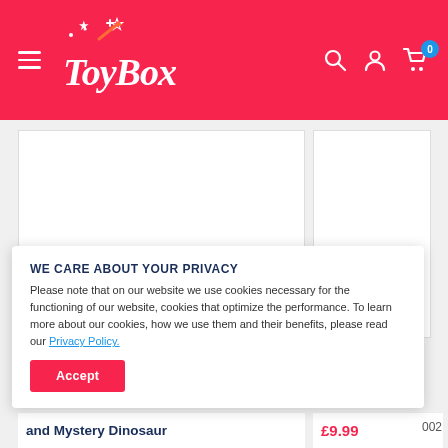[Figure (logo): ToyBox logo — white script text with stars and sparkles on red background]
[Figure (screenshot): Product image area (white box, content cropped) and sidebar thumbnail strip]
WE CARE ABOUT YOUR PRIVACY
Please note that on our website we use cookies necessary for the functioning of our website, cookies that optimize the performance. To learn more about our cookies, how we use them and their benefits, please read our Privacy Policy.
Accept
and Mystery Dinosaur
£9.99
002